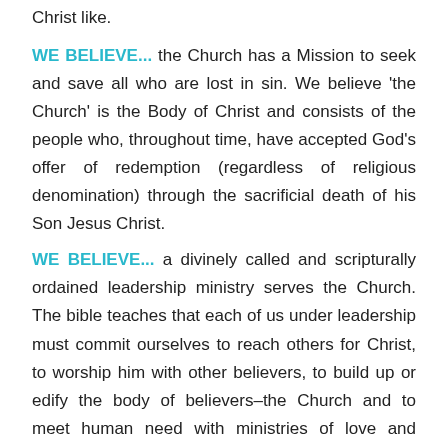Christ like.
WE BELIEVE... the Church has a Mission to seek and save all who are lost in sin. We believe 'the Church' is the Body of Christ and consists of the people who, throughout time, have accepted God's offer of redemption (regardless of religious denomination) through the sacrificial death of his Son Jesus Christ.
WE BELIEVE... a divinely called and scripturally ordained leadership ministry serves the Church. The bible teaches that each of us under leadership must commit ourselves to reach others for Christ, to worship him with other believers, to build up or edify the body of believers–the Church and to meet human need with ministries of love and compassion.
WE BELIEVE... divine healing of the sick is a privilege for Christians and was provided for in Christ's at...